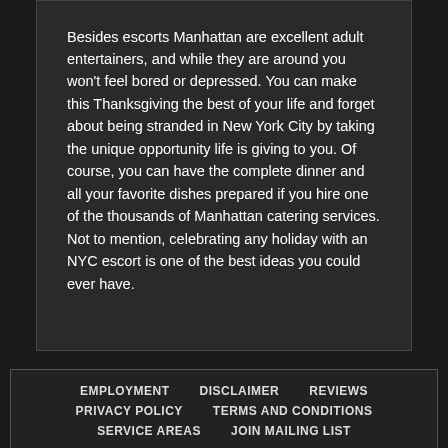Besides escorts Manhattan are excellent adult entertainers, and while they are around you won't feel bored or depressed. You can make this Thanksgiving the best of your life and forget about being stranded in New York City by taking the unique opportunity life is giving to you. Of course, you can have the complete dinner and all your favorite dishes prepared if you hire one of the thousands of Manhattan catering services. Not to mention, celebrating any holiday with an NYC escort is one of the best ideas you could ever have.
EMPLOYMENT   DISCLAIMER   REVIEWS   PRIVACY POLICY   TERMS AND CONDITIONS   SERVICE AREAS   JOIN MAILING LIST
© 2022 New York Escorts GFE